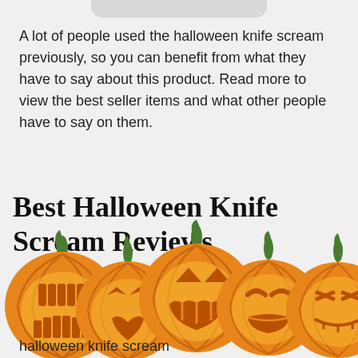A lot of people used the halloween knife scream previously, so you can benefit from what they have to say about this product. Read more to view the best seller items and what other people have to say on them.
Best Halloween Knife Scream Reviews
To assist you, we have gathered a few halloween knife scream